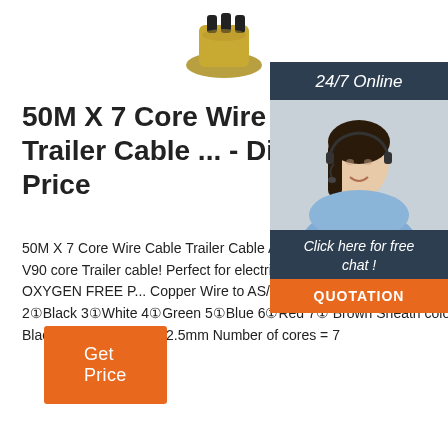[Figure (photo): Partial view of a wire cable connector/plug product, brass colored, at top center of page]
50M X 7 Core Wire Cable Trailer Cable ... - Discount Price
50M X 7 Core Wire Cable Trailer Cable Automotive Boat Caravan Truck Coil V90 core Trailer cable! Perfect for electric brake caravans! Conductor = OXYGEN FREE Pure Copper Wire to AS/NZS 1125 Core Colour Yellow 2①Black 3①White 4①Green 5①Blue 6①Red 7①Brown Sheath colour = Black MM Thickness = 2.5mm Number of cores = 7
[Figure (photo): Customer service agent - woman with headset smiling, used in 24/7 online chat widget overlay]
24/7 Online
Click here for free chat !
QUOTATION
Get Price